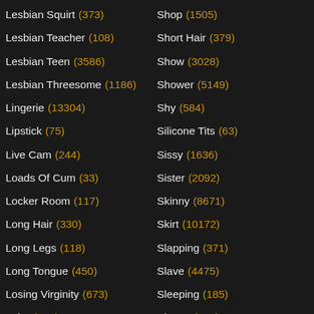Lesbian Squirt (373)
Lesbian Teacher (108)
Lesbian Teen (3586)
Lesbian Threesome (1186)
Lingerie (13304)
Lipstick (75)
Live Cam (244)
Loads Of Cum (33)
Locker Room (117)
Long Hair (330)
Long Legs (118)
Long Tongue (450)
Losing Virginity (673)
Lube (131)
Luscious (137)
Lust (1361)
Shop (1505)
Short Hair (379)
Show (3028)
Shower (5149)
Shy (584)
Silicone Tits (63)
Sissy (1636)
Sister (2092)
Skinny (8671)
Skirt (10172)
Slapping (371)
Slave (4475)
Sleeping (185)
Sloppy (811)
Slow (66)
Slut (11634)